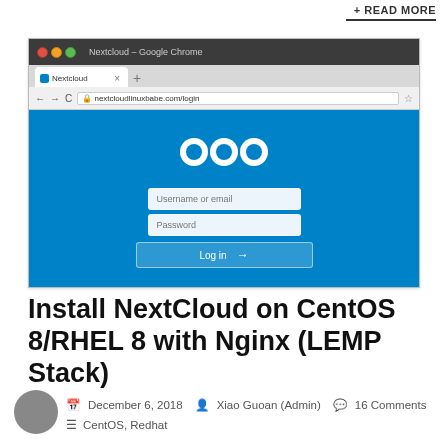+ READ MORE
[Figure (screenshot): Screenshot of Nextcloud login page in Google Chrome browser on Ubuntu. Shows the Nextcloud logo (three connected circles) on a blue background, with Username or email and Password fields, and a Log in button with arrow. Address bar shows nextcloudlinuxbabe.com/login.]
Install NextCloud on CentOS 8/RHEL 8 with Nginx (LEMP Stack)
December 6, 2018   Xiao Guoan (Admin)   16 Comments   CentOS, Redhat